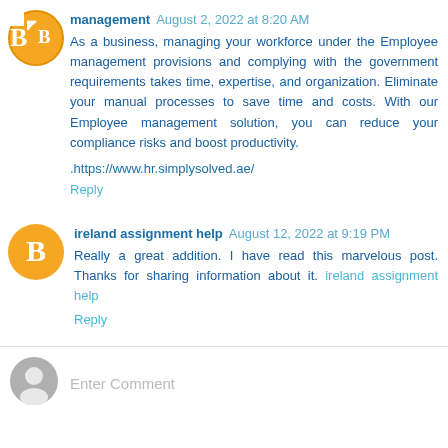management August 2, 2022 at 8:20 AM
As a business, managing your workforce under the Employee management provisions and complying with the government requirements takes time, expertise, and organization. Eliminate your manual processes to save time and costs. With our Employee management solution, you can reduce your compliance risks and boost productivity.
.https://www.hr.simplysolved.ae/
Reply
ireland assignment help August 12, 2022 at 9:19 PM
Really a great addition. I have read this marvelous post. Thanks for sharing information about it. ireland assignment help
Reply
Enter Comment